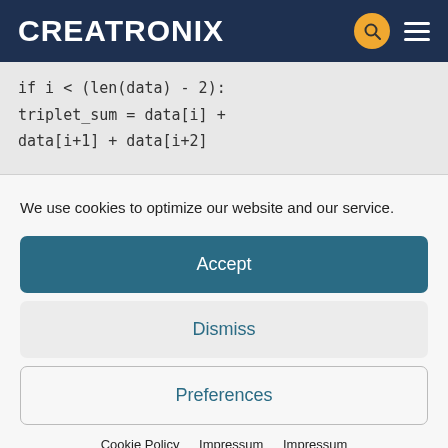CREATRONIX
We use cookies to optimize our website and our service.
Accept
Dismiss
Preferences
Cookie Policy   Impressum   Impressum